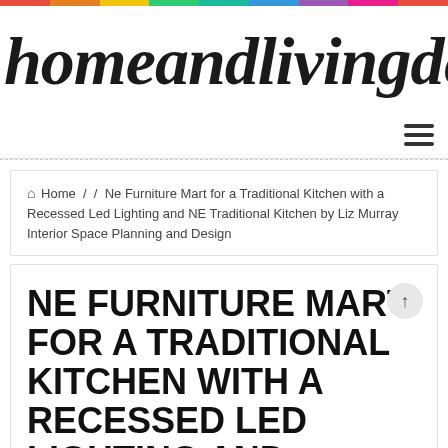homeandlivingdecor
Home / Ne Furniture Mart for a Traditional Kitchen with a Recessed Led Lighting and NE Traditional Kitchen by Liz Murray Interior Space Planning and Design
NE FURNITURE MART FOR A TRADITIONAL KITCHEN WITH A RECESSED LED LIGHTING AND